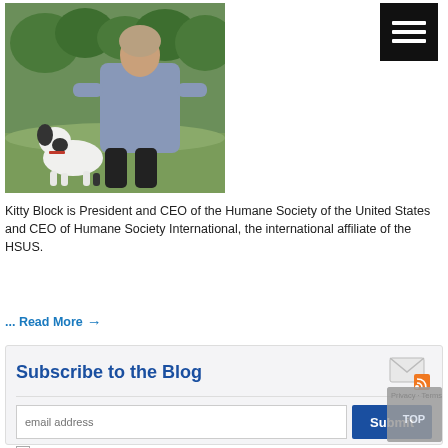[Figure (photo): Person crouching outdoors on grass next to a small black and white dog]
[Figure (other): Hamburger menu icon (three horizontal white lines on black square background)]
Kitty Block is President and CEO of the Humane Society of the United States and CEO of Humane Society International, the international affiliate of the HSUS.
... Read More →
Subscribe to the Blog
email address
Submit
Send only the weekly digest
RSS Feed
Tell a Friend